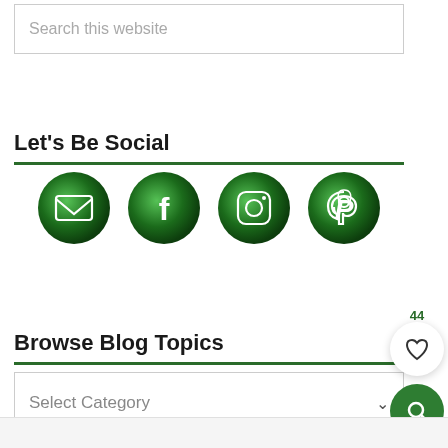Search this website
Let's Be Social
[Figure (illustration): Four circular green social media icon buttons: email/envelope, Facebook, Instagram, Pinterest]
Browse Blog Topics
Select Category
44